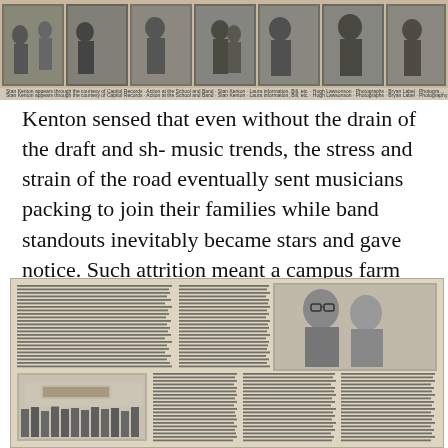[Figure (photo): Strip of black-and-white photographs showing musicians performing, including horn players and band members. Caption below reads credits for Stan Kenton appearing through courtesy of Capitol Records, action at the School and Band, Stan Kenton, Laura information, Bill, etc., Hugh Lawsonson, Photographs, Bryan Label Photography.]
Stan Kenton appears through the courtesy of Capitol Records · Action at the School and Band · Stan Kenton · Laura information, Bill, etc. · Hugh Lawsonson · Photographs · Bryan Label · Photography · ...
Kenton sensed that even without the drain of the draft and sh- music trends, the stress and strain of the road eventually sent musicians packing to join their families while band standouts inevitably became stars and gave notice. Such attrition meant a campus farm team could ably fill the gap.
[Figure (photo): Newspaper clipping with dense columns of text about the North Texas Lab Band, alongside a photograph of two men (one wearing glasses) and a lower photograph showing the North Texas Lab Band performing on stage with audience members visible.]